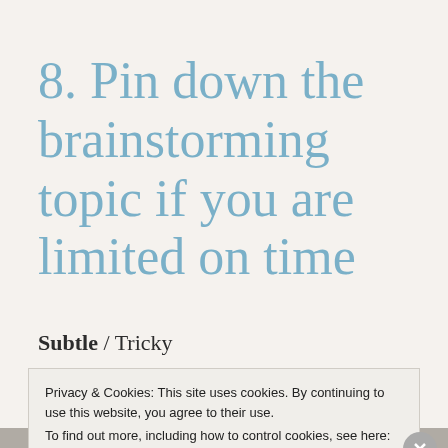8. Pin down the brainstorming topic if you are limited on time
Subtle / Tricky
Privacy & Cookies: This site uses cookies. By continuing to use this website, you agree to their use.
To find out more, including how to control cookies, see here: Cookie Policy
Close and accept